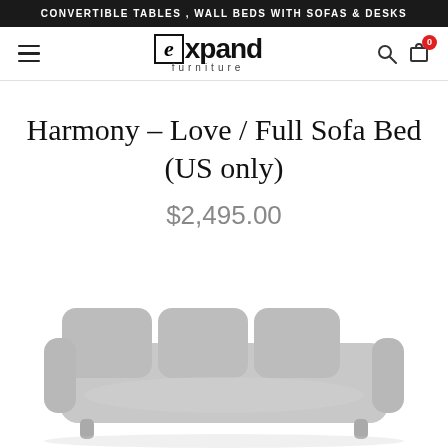CONVERTIBLE TABLES , WALL BEDS WITH SOFAS & DESKS
[Figure (logo): Expand Furniture logo with hamburger menu, search icon, and cart icon showing 0 items]
Harmony – Love / Full Sofa Bed (US only)
$2,495.00
[Figure (photo): Bottom portion of a light grey upholstered sofa/loveseat shown against white background]